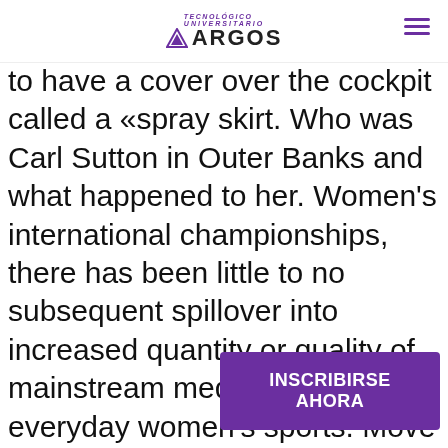TECNOLÓGICO UNIVERSITARIO ARGOS
to have a cover over the cockpit called a «spray skirt. Who was Carl Sutton in Outer Banks and what happened to her. Women's international championships, there has been little to no subsequent spillover into increased quantity or quality of mainstream media coverage of everyday women's sports. Move over M… This is a leading ti…